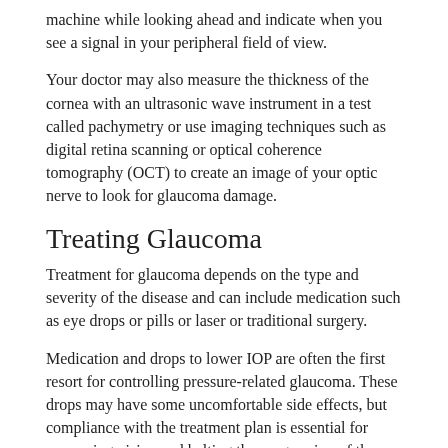machine while looking ahead and indicate when you see a signal in your peripheral field of view.
Your doctor may also measure the thickness of the cornea with an ultrasonic wave instrument in a test called pachymetry or use imaging techniques such as digital retina scanning or optical coherence tomography (OCT) to create an image of your optic nerve to look for glaucoma damage.
Treating Glaucoma
Treatment for glaucoma depends on the type and severity of the disease and can include medication such as eye drops or pills or laser or traditional surgery.
Medication and drops to lower IOP are often the first resort for controlling pressure-related glaucoma. These drops may have some uncomfortable side effects, but compliance with the treatment plan is essential for preserving vision and halting the progression of the disease. Untreated macular degeneration is one of the leading causes of blindness.